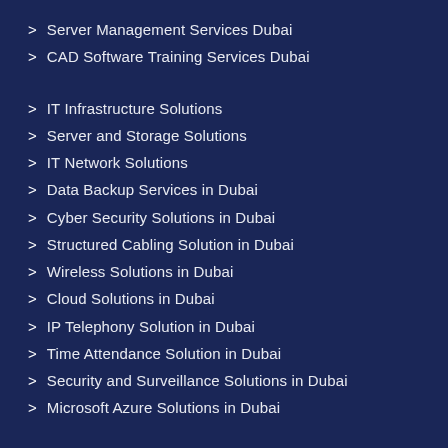> Server Management Services Dubai
> CAD Software Training Services Dubai
> IT Infrastructure Solutions
> Server and Storage Solutions
> IT Network Solutions
> Data Backup Services in Dubai
> Cyber Security Solutions in Dubai
> Structured Cabling Solution in Dubai
> Wireless Solutions in Dubai
> Cloud Solutions in Dubai
> IP Telephony Solution in Dubai
> Time Attendance Solution in Dubai
> Security and Surveillance Solutions in Dubai
> Microsoft Azure Solutions in Dubai